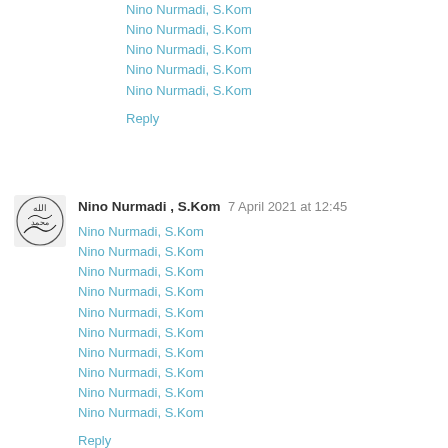Nino Nurmadi, S.Kom
Nino Nurmadi, S.Kom
Nino Nurmadi, S.Kom
Nino Nurmadi, S.Kom
Nino Nurmadi, S.Kom
Reply
Nino Nurmadi , S.Kom  7 April 2021 at 12:45
Nino Nurmadi, S.Kom
Nino Nurmadi, S.Kom
Nino Nurmadi, S.Kom
Nino Nurmadi, S.Kom
Nino Nurmadi, S.Kom
Nino Nurmadi, S.Kom
Nino Nurmadi, S.Kom
Nino Nurmadi, S.Kom
Nino Nurmadi, S.Kom
Nino Nurmadi, S.Kom
Reply